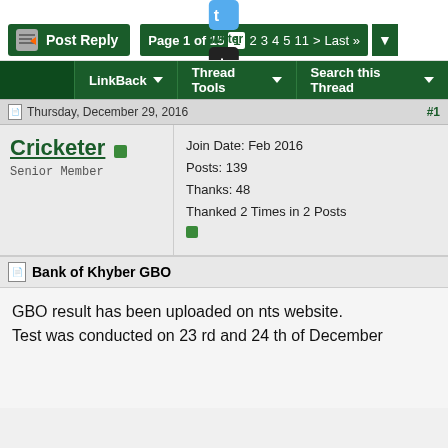[Figure (screenshot): Top section showing Twitter and Google+ social icons with labels, a Post Reply button, and pagination showing Page 1 of 15]
LinkBack | Thread Tools | Search this Thread
Thursday, December 29, 2016  #1
Cricketer
Senior Member
Join Date: Feb 2016
Posts: 139
Thanks: 48
Thanked 2 Times in 2 Posts
Bank of Khyber GBO
GBO result has been uploaded on nts website.
Test was conducted on 23 rd and 24 th of December